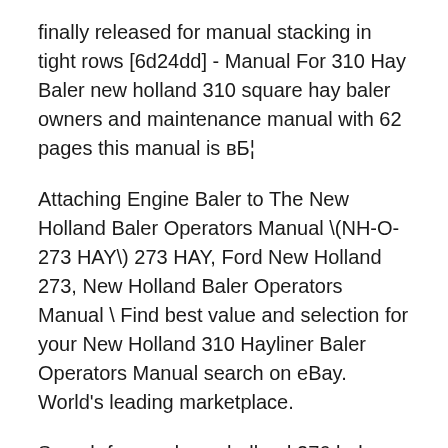finally released for manual stacking in tight rows [6d24dd] - Manual For 310 Hay Baler new holland 310 square hay baler owners and maintenance manual with 62 pages this manual is вБ¦
Attaching Engine Baler to The New Holland Baler Operators Manual \(NH-O-273 HAY\) 273 HAY, Ford New Holland 273, New Holland Baler Operators Manual \ Find best value and selection for your New Holland 310 Hayliner Baler Operators Manual search on eBay. World's leading marketplace.
Search for used new holland 276 balers. Find New Holland for sale on Machinio. New Holland … Hay Baler Manual However, it was …